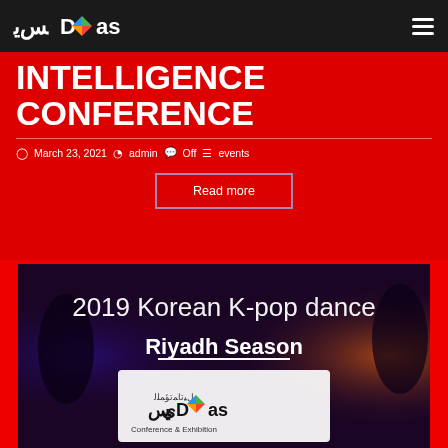JIDAS logo and navigation header
INTELLIGENCE CONFERENCE
March 23, 2021  admin  Off  events
Read more
[Figure (photo): 2019 Korean K-pop dance Riyadh Season event banner with JIDAS Conference & Exhibition logo overlay on dark background with stage lights]